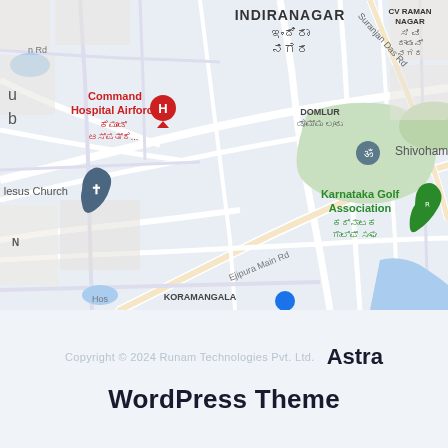[Figure (map): Google Maps view of Bangalore area showing Indiranagar, Domlur, Koramangala, Karnataka Golf Association, Command Hospital Airforce, Jesus Church, Shivoham Shi, CV Raman Nagar, with street labels in English and Kannada script.]
Copyright © 2024 Runam Technologies Pvt. Ltd. Astra WordPress Theme